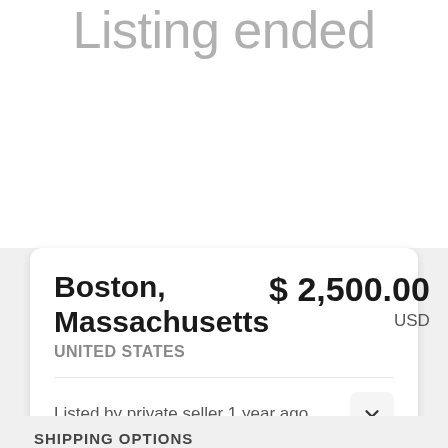Listing ended
Boston, Massachusetts
UNITED STATES
$ 2,500.00
USD
Listed by private seller 1 year ago
SHIPPING OPTIONS